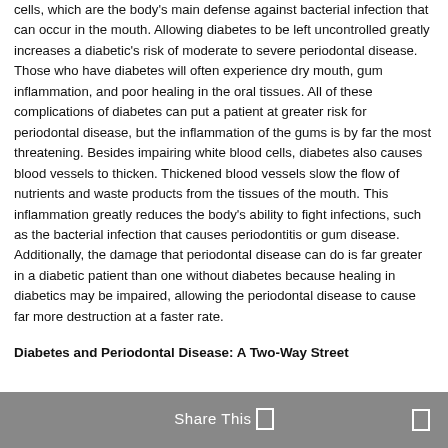cells, which are the body's main defense against bacterial infection that can occur in the mouth. Allowing diabetes to be left uncontrolled greatly increases a diabetic's risk of moderate to severe periodontal disease. Those who have diabetes will often experience dry mouth, gum inflammation, and poor healing in the oral tissues. All of these complications of diabetes can put a patient at greater risk for periodontal disease, but the inflammation of the gums is by far the most threatening. Besides impairing white blood cells, diabetes also causes blood vessels to thicken. Thickened blood vessels slow the flow of nutrients and waste products from the tissues of the mouth. This inflammation greatly reduces the body's ability to fight infections, such as the bacterial infection that causes periodontitis or gum disease. Additionally, the damage that periodontal disease can do is far greater in a diabetic patient than one without diabetes because healing in diabetics may be impaired, allowing the periodontal disease to cause far more destruction at a faster rate.
Diabetes and Periodontal Disease: A Two-Way Street
Share This